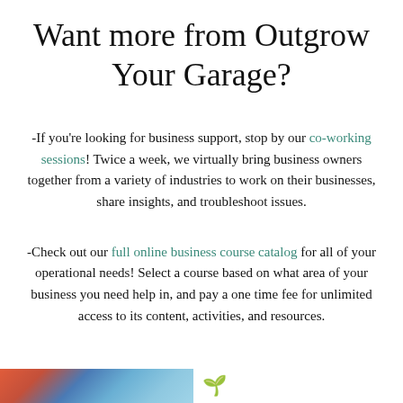Want more from Outgrow Your Garage?
-If you’re looking for business support, stop by our co-working sessions! Twice a week, we virtually bring business owners together from a variety of industries to work on their businesses, share insights, and troubleshoot issues.
-Check out our full online business course catalog for all of your operational needs! Select a course based on what area of your business you need help in, and pay a one time fee for unlimited access to its content, activities, and resources.
[Figure (photo): Partial view of a colorful image strip on the bottom left and a small plant icon on the bottom right]